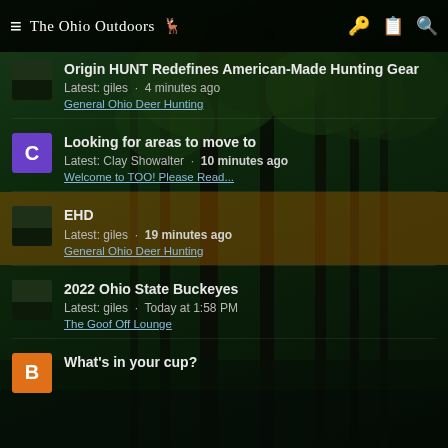The Ohio Outdoors
Origin HUNT Redefines American-Made Hunting Gear
Latest: giles · 4 minutes ago
General Ohio Deer Hunting
Looking for areas to move to
Latest: Clay Showalter · 10 minutes ago
Welcome to TOO! Please Read...
EHD
Latest: giles · 19 minutes ago
General Ohio Deer Hunting
2022 Ohio State Buckeyes
Latest: giles · Today at 1:58 PM
The Goof Off Lounge
What's in your cup?
Latest: [partially visible] · Today at 1:47 PM